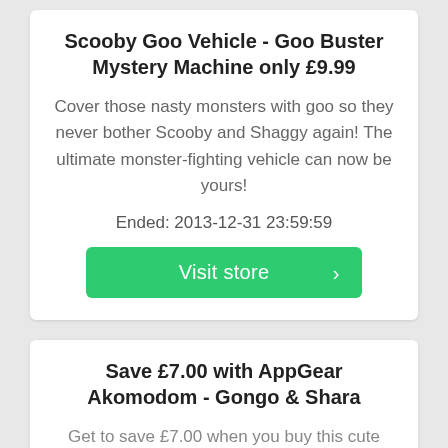Scooby Goo Vehicle - Goo Buster Mystery Machine only £9.99
Cover those nasty monsters with goo so they never bother Scooby and Shaggy again! The ultimate monster-fighting vehicle can now be yours!
Ended: 2013-12-31 23:59:59
Visit store >
Save £7.00 with AppGear Akomodom - Gongo & Shara
Get to save £7.00 when you buy this cute creature AppGear Akomodom - Gongo &